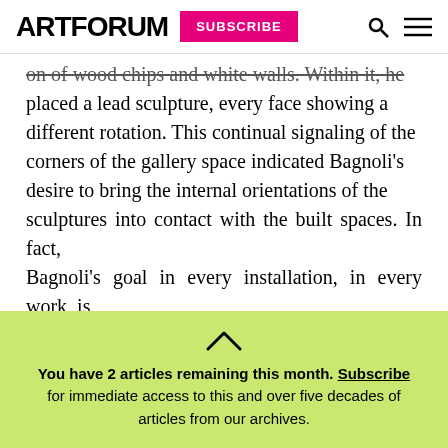ARTFORUM | SUBSCRIBE
on of wood chips and white walls. Within it, he placed a lead sculpture, every face showing a different rotation. This continual signaling of the corners of the gallery space indicated Bagnoli's desire to bring the internal orientations of the sculptures into contact with the built spaces. In fact, Bagnoli's goal in every installation, in every work, is to make visible the polarities between the axes of the external world and the internal axes of his works.
You have 2 articles remaining this month. Subscribe for immediate access to this and over five decades of articles from our archives.